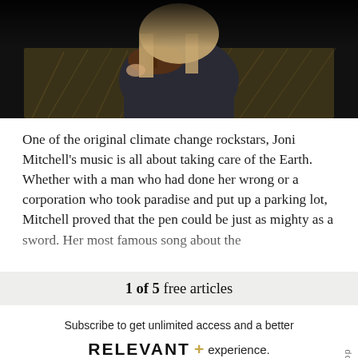[Figure (photo): Partial photo of a person (Joni Mitchell) holding a guitar, set against a dark background with hay/straw visible, only the lower portion of the figure is visible.]
One of the original climate change rockstars, Joni Mitchell's music is all about taking care of the Earth. Whether with a man who had done her wrong or a corporation who took paradise and put up a parking lot, Mitchell proved that the pen could be just as mighty as a sword. Her most famous song about the
1 of 5 free articles
Subscribe to get unlimited access and a better RELEVANT+ experience.
GET UNLIMITED ACCESS